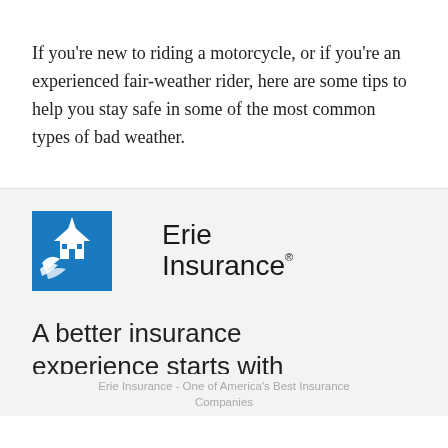If you're new to riding a motorcycle, or if you're an experienced fair-weather rider, here are some tips to help you stay safe in some of the most common types of bad weather.
[Figure (logo): Erie Insurance logo — blue square with white house/building and bird graphic on the left, 'Erie Insurance' text in black on the right with a registered trademark symbol]
A better insurance experience starts with ERIE.
Erie Insurance - One of America's Best Insurance Companies